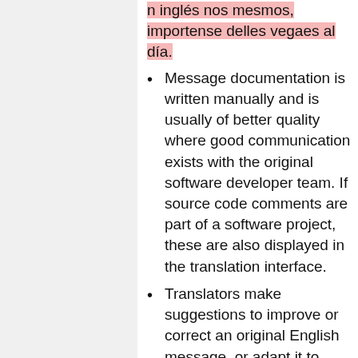n inglés nos mesmos, importense delles vegaes al día.
Message documentation is written manually and is usually of better quality where good communication exists with the original software developer team. If source code comments are part of a software project, these are also displayed in the translation interface.
Translators make suggestions to improve or correct an original English message, or adapt it to support localisation. If agreed, these are either implemented by translatewiki.net members who are also developers on the relevant project, or reported to the project developers.
Completed translations for each